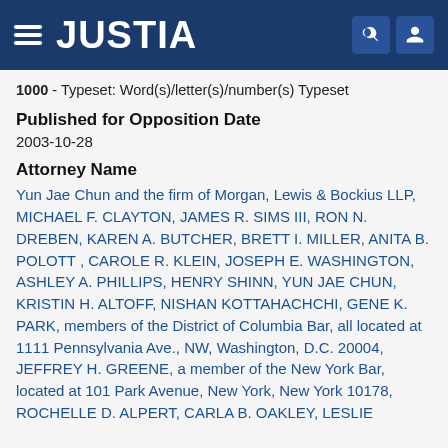JUSTIA
1000 - Typeset: Word(s)/letter(s)/number(s) Typeset
Published for Opposition Date
2003-10-28
Attorney Name
Yun Jae Chun and the firm of Morgan, Lewis & Bockius LLP, MICHAEL F. CLAYTON, JAMES R. SIMS III, RON N. DREBEN, KAREN A. BUTCHER, BRETT I. MILLER, ANITA B. POLOTT , CAROLE R. KLEIN, JOSEPH E. WASHINGTON, ASHLEY A. PHILLIPS, HENRY SHINN, YUN JAE CHUN, KRISTIN H. ALTOFF, NISHAN KOTTAHACHCHI, GENE K. PARK, members of the District of Columbia Bar, all located at 1111 Pennsylvania Ave., NW, Washington, D.C. 20004, JEFFREY H. GREENE, a member of the New York Bar, located at 101 Park Avenue, New York, New York 10178, ROCHELLE D. ALPERT, CARLA B. OAKLEY, LESLIE